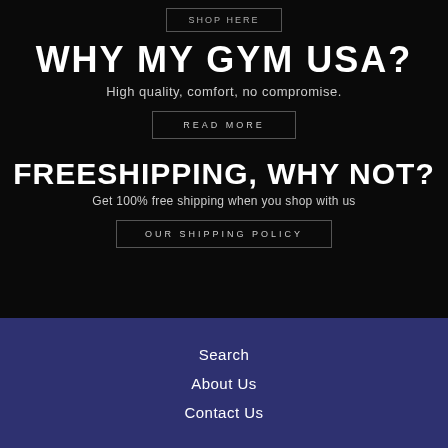SHOP HERE
WHY MY GYM USA?
High quality, comfort, no compromise.
READ MORE
FREESHIPPING, WHY NOT?
Get 100% free shipping when you shop with us
OUR SHIPPING POLICY
Search
About Us
Contact Us